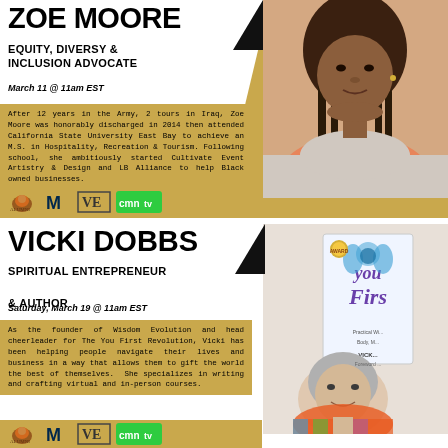ZOE MOORE
EQUITY, DIVERSY & INCLUSION ADVOCATE
March 11 @ 11am EST
After 12 years in the Army, 2 tours in Iraq, Zoe Moore was honorably discharged in 2014 then attended California State University East Bay to achieve an M.S. in Hospitality, Recreation & Tourism. Following school, she ambitiously started Cultivate Event Artistry & Design and LB Alliance to help Black owned businesses.
[Figure (logo): Sponsor logos: lion logo, Michigan M logo, VE logo, cmntv logo]
VICKI DOBBS
SPIRITUAL ENTREPRENEUR & AUTHOR
Saturday, March 19 @ 11am EST
As the founder of Wisdom Evolution and head cheerleader for The You First Revolution, Vicki has been helping people navigate their lives and business in a way that allows them to gift the world the best of themselves.  She specializes in writing and crafting virtual and in-person courses.
[Figure (logo): Sponsor logos: lion logo, Michigan M logo, VE logo, cmntv logo]
[Figure (photo): Photo of Zoe Moore, a woman with braided hair]
[Figure (photo): Photo of Vicki Dobbs and her book 'You First']